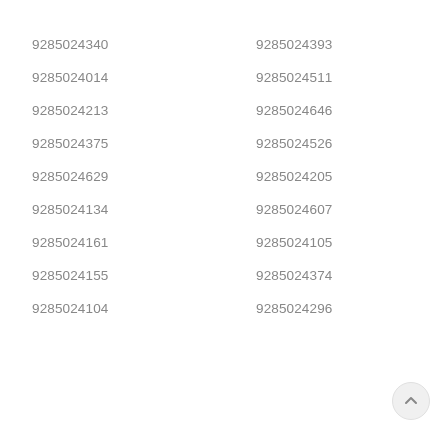9285024340
9285024393
9285024014
9285024511
9285024213
9285024646
9285024375
9285024526
9285024629
9285024205
9285024134
9285024607
9285024161
9285024105
9285024155
9285024374
9285024104
9285024296